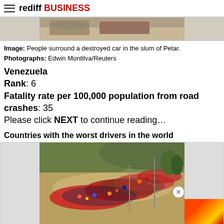rediff BUSINESS
[Figure (photo): Partial view of a destroyed car in the slum of Petar - top strip image]
Image: People surround a destroyed car in the slum of Petar.
Photographs: Edwin Montilva/Reuters
Venezuela
Rank: 6
Fatality rate per 100,000 population from road crashes: 35
Please click NEXT to continue reading…
Countries with the worst drivers in the world
[Figure (photo): Aerial view of a large crowd of people walking along a path through dry grassland]